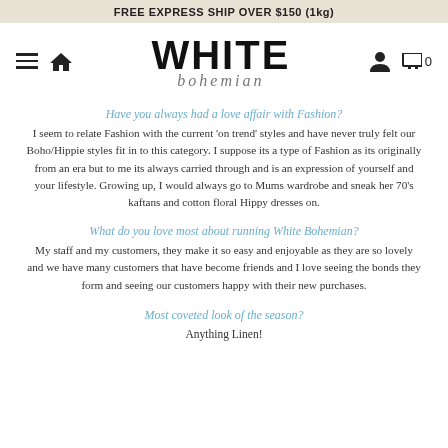FREE EXPRESS SHIP OVER $150 (1kg)
[Figure (logo): White Bohemian logo with navigation icons]
Have you always had a love affair with Fashion?
I seem to relate Fashion with the current 'on trend' styles and have never truly felt our Boho/Hippie styles fit in to this category.  I suppose its a type of Fashion as its originally from an era but to me its always carried through and is an expression of yourself and your lifestyle. Growing up, I would always go to Mums wardrobe and  sneak her 70's kaftans and cotton floral Hippy dresses on.
What do you love most about running White Bohemian?
My staff and my customers, they make it so easy and enjoyable as they are so lovely and we have many customers that have become friends and I love seeing the bonds they form and seeing our customers happy with their new purchases.
Most coveted look of the season?
Anything Linen!